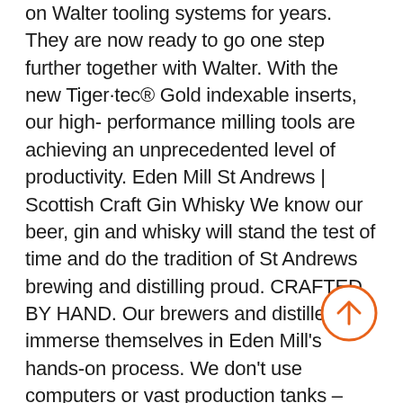on Walter tooling systems for years. They are now ready to go one step further together with Walter. With the new Tiger·tec® Gold indexable inserts, our high- performance milling tools are achieving an unprecedented level of productivity. Eden Mill St Andrews | Scottish Craft Gin Whisky We know our beer, gin and whisky will stand the test of time and do the tradition of St Andrews brewing and distilling proud. CRAFTED BY HAND. Our brewers and distillers immerse themselves in Eden Mill's hands-on process. We don't use computers or vast production tanks – ours is a personalised approach of creation, tinkering and experimenting. Wades Gold Mill (Hill City) - 2022 All You Need to Know We decided to visit Wades Gold Mill because we thought the kids would like it and we were right. Such a fun and inexpensive activity. The people were so friendly and patient and the kids are still talking about it. The kids are 4 and 6 and we're perfect ages. We will definitely be back. Team GB's Mills, McIntyre claim sailing gold04/08/2022· Team GB's